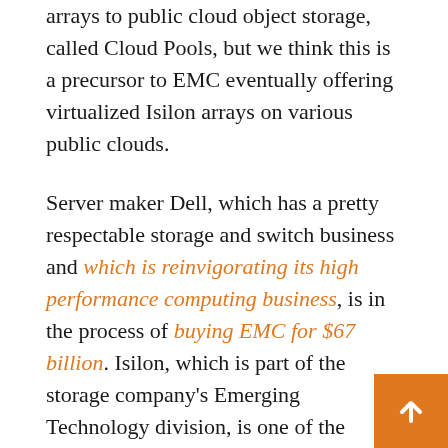arrays to public cloud object storage, called Cloud Pools, but we think this is a precursor to EMC eventually offering virtualized Isilon arrays on various public clouds.
Server maker Dell, which has a pretty respectable storage and switch business and which is reinvigorating its high performance computing business, is in the process of buying EMC for $67 billion. Isilon, which is part of the storage company's Emerging Technology division, is one of the crown jewels that makes EMC worth so much money. (We also think that ScaleIO hyperconverged storage brings significant value to Dell, although it will have to balance its own products against those from partners like Nutanix.) It is hard to say what will happen to Isilon in the wake of the Dell deal ge done, but it stands to reason that the Isilon and ScaleIO will play a more important role for the future of Dell